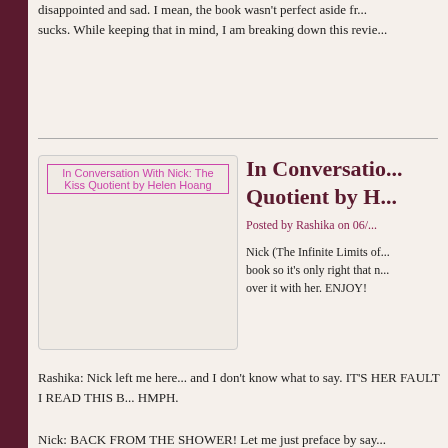disappointed and sad. I mean, the book wasn't perfect aside fr... sucks. While keeping that in mind, I am breaking down this revie...
[Figure (illustration): Book cover image placeholder for 'In Conversation With Nick: The Kiss Quotient by Helen Hoang']
In Conversatio... Quotient by H...
Posted by Rashika on 06/...
Nick (The Infinite Limits of... book so it's only right that... over it with her. ENJOY!
Rashika: Nick left me here... and I don't know what to say. IT'S HER FAULT I READ THIS B... HMPH.
Nick: BACK FROM THE SHOWER! Let me just preface by say...